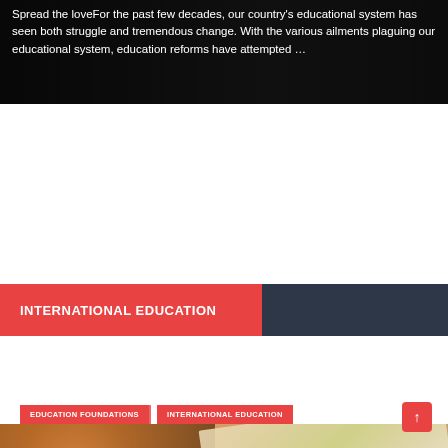Spread the loveFor the past few decades, our country's educational system has seen both struggle and tremendous change. With the various ailments plaguing our educational system, education reforms have attempted …
INTERNATIONAL EDUCATION
[Figure (photo): Person with reddish-brown hair viewed from behind, looking down at an open map/atlas. The map shows geographical regions with yellow and green areas. Text on the map reads partially visible 'ORIENTACNI' and 'PLÁN PRAHY'.]
EDUCATION FOUNDATIONS   INTERNATIONAL EDUCATION